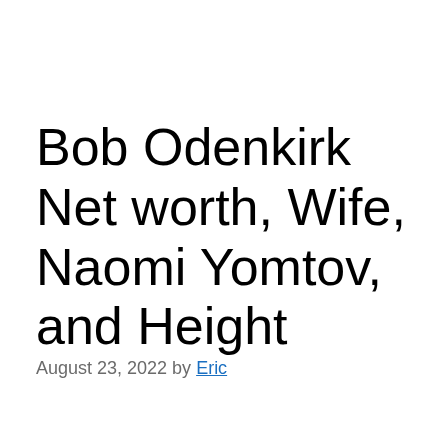Bob Odenkirk Net worth, Wife, Naomi Yomtov, and Height
August 23, 2022 by Eric